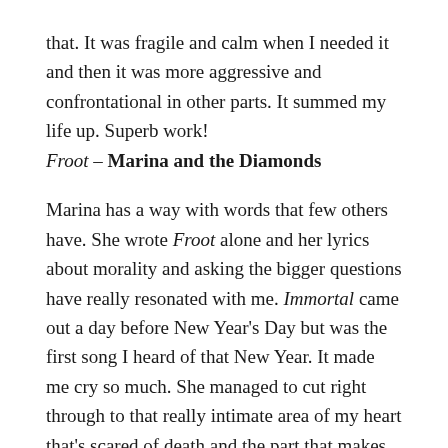that. It was fragile and calm when I needed it and then it was more aggressive and confrontational in other parts. It summed my life up. Superb work!
Froot – Marina and the Diamonds
Marina has a way with words that few others have. She wrote Froot alone and her lyrics about morality and asking the bigger questions have really resonated with me. Immortal came out a day before New Year's Day but was the first song I heard of that New Year. It made me cry so much. She managed to cut right through to that really intimate area of my heart that's scared of death and the part that makes me